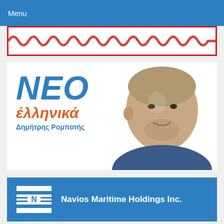Menu
[Figure (other): Banner image with red border, partially visible red waveform/logo graphic on white background]
[Figure (other): NEO ελληνικά promotional image with Greek text 'ΝΕΟ ελληνικά Δημήτρης Ρομποτής' and photo of smiling middle-aged man]
[Figure (logo): Navios Maritime Holdings Inc. logo — blue rectangle with N logo (stylized N with horizontal lines) and white text 'Navios Maritime Holdings Inc.']